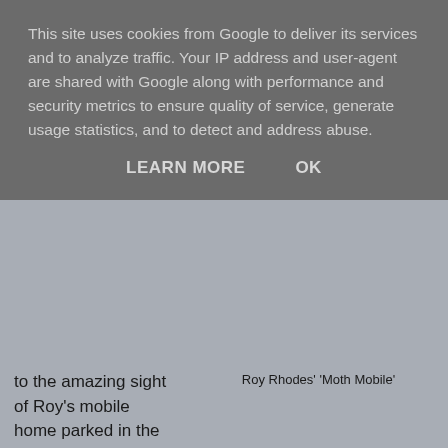This site uses cookies from Google to deliver its services and to analyze traffic. Your IP address and user-agent are shared with Google along with performance and security metrics to ensure quality of service, generate usage statistics, and to detect and address abuse.
LEARN MORE    OK
to the amazing sight of Roy's mobile home parked in the school's wildlife garden.
Roy Rhodes' 'Moth Mobile'
Roy had been here overnight and, ably helped by Dave Wilson, had set up a number moth traps around the garden to do a species count.  This had required a risk assessment form to be completed, permission from the school, the local police and neighbours to be informed and lots of emails  - no mean logistical feat I can tell you!
Anyway, as we arrived Roy and Dave were just putting the last few moths in bottles for showing to the children later.